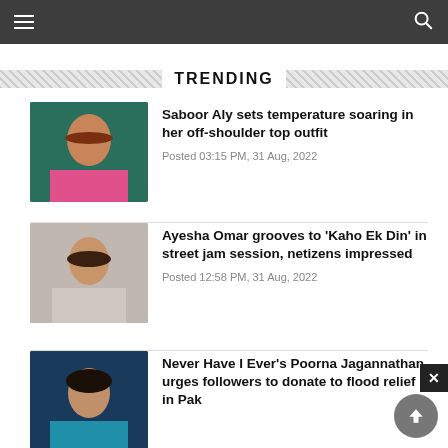Navigation bar with hamburger menu and search icon
TRENDING
Saboor Aly sets temperature soaring in her off-shoulder top outfit
Posted 03:15 PM, 31 Aug, 2022
Ayesha Omar grooves to 'Kaho Ek Din' in street jam session, netizens impressed
Posted 12:58 PM, 31 Aug, 2022
Never Have I Ever's Poorna Jagannathan urges followers to donate to flood relief in Pak